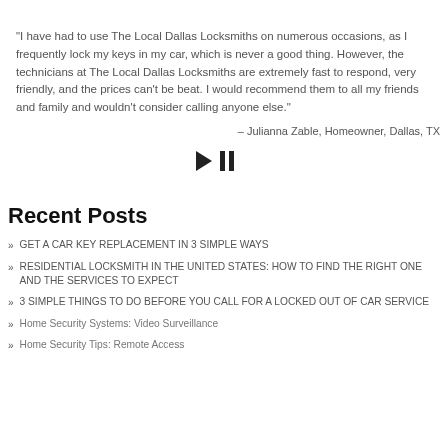“I have had to use The Local Dallas Locksmiths on numerous occasions, as I frequently lock my keys in my car, which is never a good thing. However, the technicians at The Local Dallas Locksmiths are extremely fast to respond, very friendly, and the prices can’t be beat. I would recommend them to all my friends and family and wouldn’t consider calling anyone else.”
– Julianna Zable, Homeowner, Dallas, TX
[Figure (other): Media player controls: play triangle and pause bars icons]
Recent Posts
GET A CAR KEY REPLACEMENT IN 3 SIMPLE WAYS
RESIDENTIAL LOCKSMITH IN THE UNITED STATES: HOW TO FIND THE RIGHT ONE AND THE SERVICES TO EXPECT
3 SIMPLE THINGS TO DO BEFORE YOU CALL FOR A LOCKED OUT OF CAR SERVICE
Home Security Systems: Video Surveillance
Home Security Tips: Remote Access